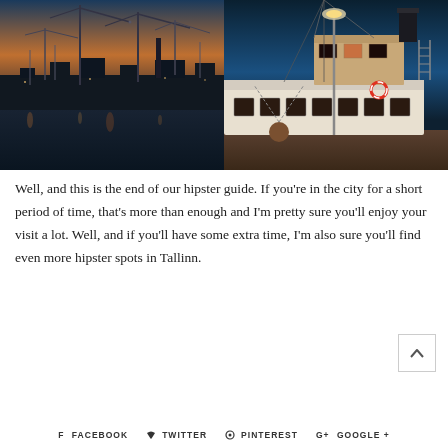[Figure (photo): Harbor at dusk with construction cranes silhouetted against an orange-blue sky, boats moored in calm water reflecting city lights]
[Figure (photo): Close-up of a vintage ship docked at a pier at night, with rigging, white hull, and a life ring visible, warm dock lighting]
Well, and this is the end of our hipster guide. If you're in the city for a short period of time, that's more than enough and I'm pretty sure you'll enjoy your visit a lot. Well, and if you'll have some extra time, I'm also sure you'll find even more hipster spots in Tallinn.
f FACEBOOK  ψ TWITTER  ⊕ PINTEREST  G+ GOOGLE +